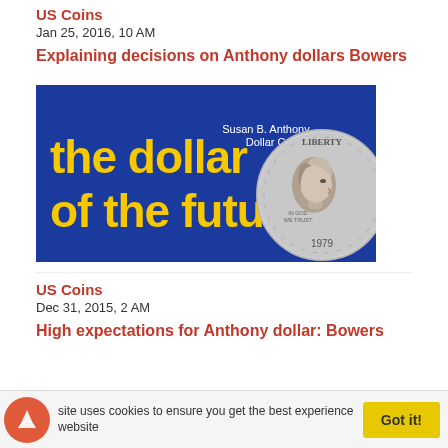US Coins
Jan 25, 2016, 10 AM
Explaining decisions on Anthony dollars Bowers
[Figure (photo): Book cover for 'the dollar of the future' featuring a Susan B. Anthony Dollar Coin on a blue background with yellow text]
US Coins
Dec 31, 2015, 2 AM
High expectations for Anthony dollar: Bowers
site uses cookies to ensure you get the best experience website